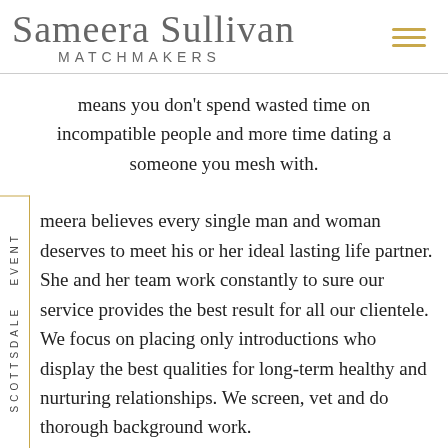[Figure (logo): Sameera Sullivan Matchmakers logo with script text and hamburger menu icon]
means you don't spend wasted time on incompatible people and more time dating a someone you mesh with.
Sameera believes every single man and woman deserves to meet his or her ideal lasting life partner. She and her team work constantly to sure our service provides the best result for all our clientele. We focus on placing only introductions who display the best qualities for long-term healthy and nurturing relationships. We screen, vet and do thorough background work.